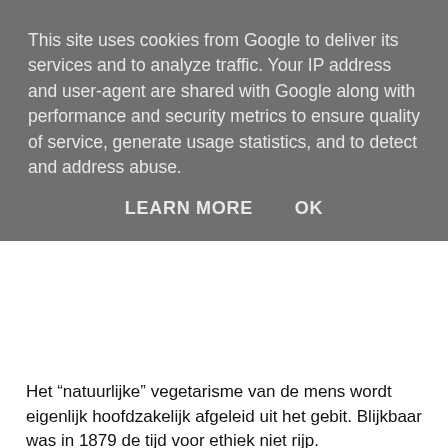This site uses cookies from Google to deliver its services and to analyze traffic. Your IP address and user-agent are shared with Google along with performance and security metrics to ensure quality of service, generate usage statistics, and to detect and address abuse.
LEARN MORE   OK
Het “natuurlijke” vegetarisme van de mens wordt eigenlijk hoofdzakelijk afgeleid uit het gebit. Blijkbaar was in 1879 de tijd voor ethiek niet rijp.
Gunning ziet het vegetarisme als bondgenoot in de strijd tegen prostitutie en het misbruik van sterke drank en tabak, een combinatie die het nog lang zou volhouden (en die voor sommigen nog steeds zal gelden). Ook de (anonieme) vertaler vaart speciaal uit tegen de jenever – als al het koren dat in deze drank omgezet wordt naar bakkerijen zou gaan, zou dan de sociale kwestie niet al een heel eind zijn opgelost? En in een noot vaart hij (vermoedelijk “hij”, doch niet zeker) uit tegen het “Hollandsche volk” dat aan baden een broertje dood heeft en zindelijker is op zijn gangen en